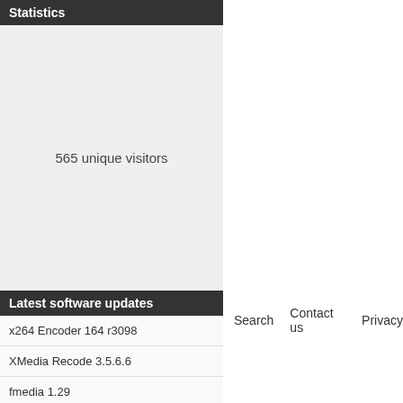Statistics
565 unique visitors
Latest software updates
x264 Encoder 164 r3098
XMedia Recode 3.5.6.6
fmedia 1.29
youtube-dl-gui 2.31 / 3.0.0 Preview
Search   Contact us   Privacy